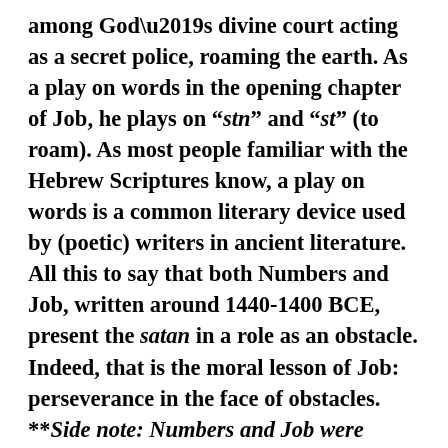among God’s divine court acting as a secret police, roaming the earth. As a play on words in the opening chapter of Job, he plays on “stn” and “st” (to roam). As most people familiar with the Hebrew Scriptures know, a play on words is a common literary device used by (poetic) writers in ancient literature. All this to say that both Numbers and Job, written around 1440-1400 BCE, present the satan in a role as an obstacle. Indeed, that is the moral lesson of Job: perseverance in the face of obstacles. **Side note: Numbers and Job were written well before the deceiving snake